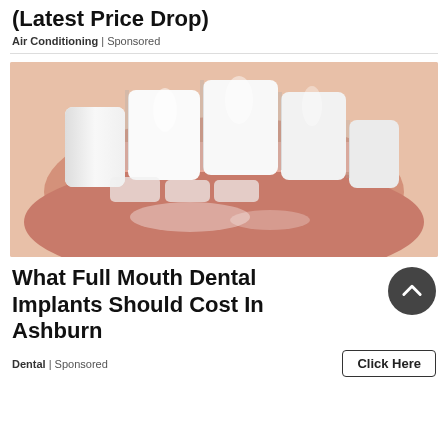(Latest Price Drop)
Air Conditioning | Sponsored
[Figure (photo): Close-up photo of a person's mouth showing white teeth and lips, upper teeth visible against a pink background]
What Full Mouth Dental Implants Should Cost In Ashburn
Dental | Sponsored